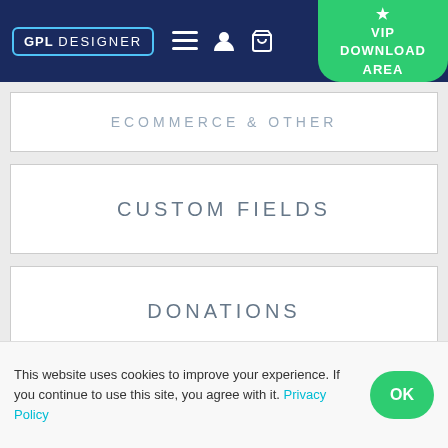GPL DESIGNER | VIP DOWNLOAD AREA
ECOMMERCE & OTHER
CUSTOM FIELDS
DONATIONS
DOWNLOADS
LMS
This website uses cookies to improve your experience. If you continue to use this site, you agree with it. Privacy Policy OK